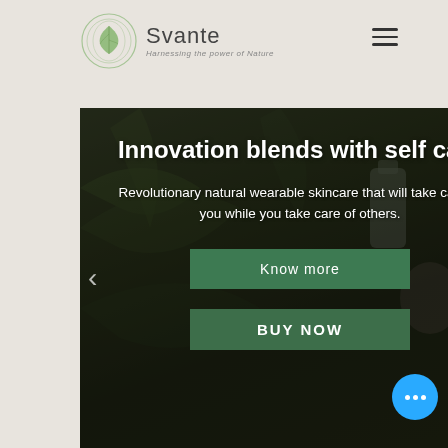[Figure (logo): Svante brand logo with circular leaf design and tagline 'Harnessing the power of Nature']
Svante
Harnessing the power of Nature
[Figure (screenshot): Hero banner with dark background showing natural plants, skincare products, with headline 'Innovation blends with self care' and body text about revolutionary natural wearable skincare]
Innovation blends with self care
Revolutionary natural wearable skincare that will take care of you while you take care of others.
Know more
BUY NOW